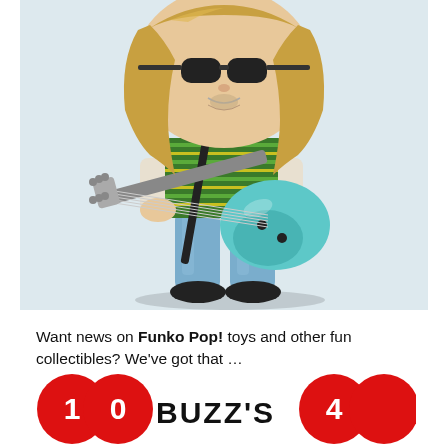[Figure (photo): A Funko Pop vinyl figure of a musician with long blonde hair, wearing a green striped shirt, jeans, and black shoes, holding a teal electric guitar. The figure has the characteristic Funko Pop oversized head with dark sunglasses, set against a light blue-grey background.]
Want news on Funko Pop! toys and other fun collectibles? We've got that …
[Figure (logo): Partial view of a logo/banner showing two large red circles with white numbers flanking bold black text reading BUZZ'S, partially cropped at the bottom of the page.]